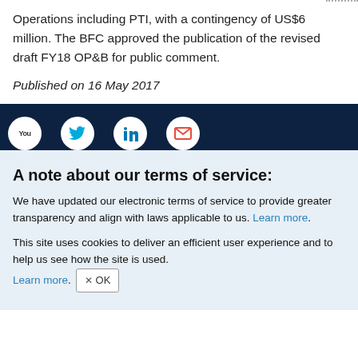Operations including PTI, with a contingency of US$6 million. The BFC approved the publication of the revised draft FY18 OP&B for public comment.
Published on 16 May 2017
[Figure (other): Dark navy footer bar with four white circular social media icons: YouTube, Twitter, LinkedIn, and email/envelope]
A note about our terms of service:
We have updated our electronic terms of service to provide greater transparency and align with laws applicable to us. Learn more.
This site uses cookies to deliver an efficient user experience and to help us see how the site is used. Learn more. [OK button]